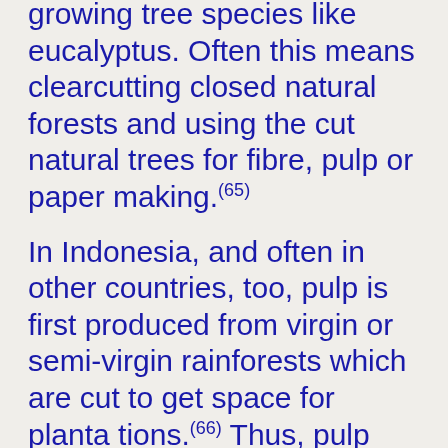growing tree species like eucalyptus. Often this means clearcutting closed natural forests and using the cut natural trees for fibre, pulp or paper making.(65)
In Indonesia, and often in other countries, too, pulp is first produced from virgin or semi-virgin rainforests which are cut to get space for planta tions.(66) Thus, pulp and paper production in tropical countries contributes to an enormous loss of biodiversity. Furthermore, the plantations have many serious environmental impacts: critical changes in the water cycle; erosion and other forms of soil deterioration; pollution by herbicides and pesticides; and pollution from accompanying pulp